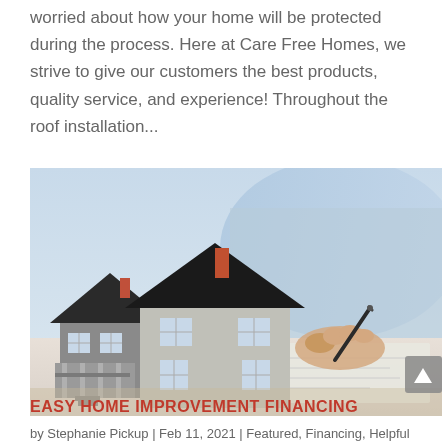worried about how your home will be protected during the process. Here at Care Free Homes, we strive to give our customers the best products, quality service, and experience! Throughout the roof installation...
[Figure (photo): Photo of a miniature house model in the foreground with a person signing documents in the background, suggesting home financing or insurance.]
EASY HOME IMPROVEMENT FINANCING
by Stephanie Pickup | Feb 11, 2021 | Featured, Financing, Helpful